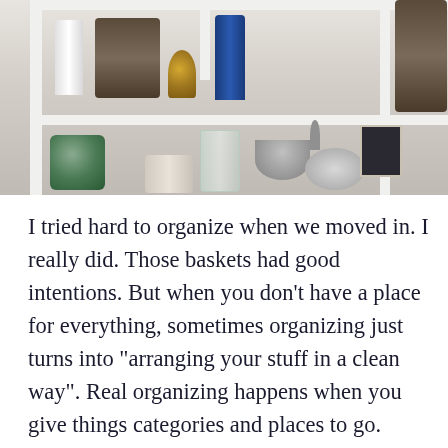[Figure (photo): A bathroom or bedroom shelf/cabinet with white frame dividers. Top left shelf holds a white bottle, woven basket, small perfume bottle, and a blue shampoo bottle. Upper right section has a large woven basket. Bottom section has a green glass jar, clear drinking glass, a silver bowl with a hook/handle, a round mirror, a small framed photo of a couple, and a white canister.]
I tried hard to organize when we moved in. I really did. Those baskets had good intentions. But when you don't have a place for everything, sometimes organizing just turns into "arranging your stuff in a clean way". Real organizing happens when you give things categories and places to go. When you know where to put things back, that's when you can actually keep your home organized. That...